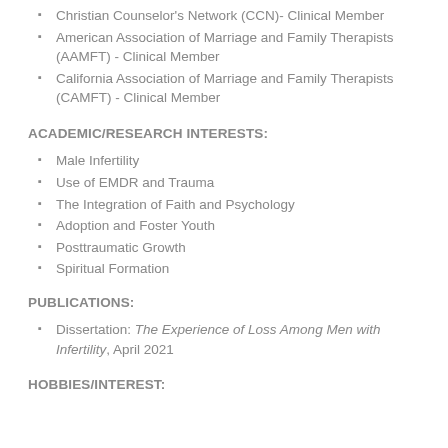Christian Counselor's Network (CCN)- Clinical Member
American Association of Marriage and Family Therapists (AAMFT) - Clinical Member
California Association of Marriage and Family Therapists (CAMFT) - Clinical Member
ACADEMIC/RESEARCH INTERESTS:
Male Infertility
Use of EMDR and Trauma
The Integration of Faith and Psychology
Adoption and Foster Youth
Posttraumatic Growth
Spiritual Formation
PUBLICATIONS:
Dissertation: The Experience of Loss Among Men with Infertility, April 2021
HOBBIES/INTEREST: